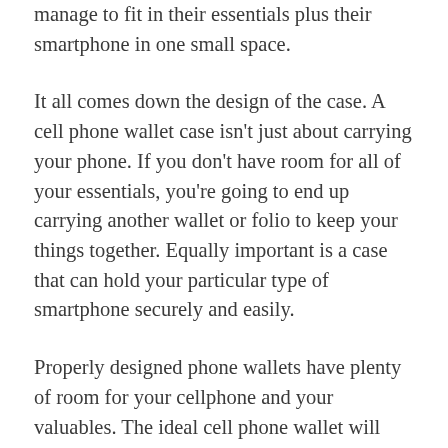manage to fit in their essentials plus their smartphone in one small space.
It all comes down the design of the case. A cell phone wallet case isn't just about carrying your phone. If you don't have room for all of your essentials, you're going to end up carrying another wallet or folio to keep your things together. Equally important is a case that can hold your particular type of smartphone securely and easily.
Properly designed phone wallets have plenty of room for your cellphone and your valuables. The ideal cell phone wallet will have a device pocket is adjustable to your smartphone style and size. This way you'll be able to easily swap out your cell phone when you upgrade your phone. Your phone wallet should be made of a flexible and stretchable material so that your cell phone